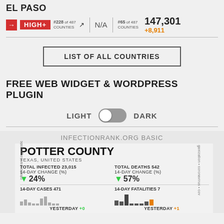EL PASO
HIGH+ #228 of 487 COUNTIES N/A #65 of 487 COUNTIES 147,301 +8,911
LIST OF ALL COUNTRIES
FREE WEB WIDGET & WORDPRESS PLUGIN
LIGHT  DARK
INFECTIONRANK.ORG BASIC
POTTER COUNTY
TEXAS, UNITED STATES
TOTAL INFECTED 23,015
14-DAY CHANGE (%)
▼24%
14-DAY CASES 471
YESTERDAY +0
TOTAL DEATHS 542
14-DAY CHANGE (%)
▼57%
14-DAY FATALITIES 7
YESTERDAY +1